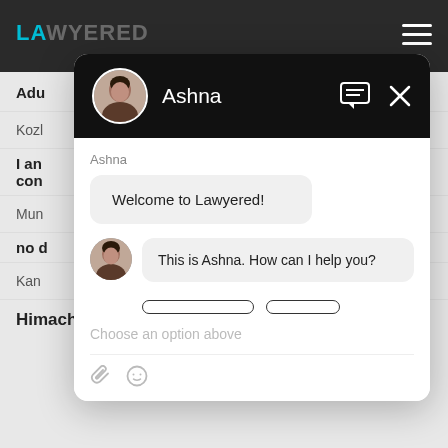[Figure (screenshot): Lawyered website background with top navigation bar showing logo and hamburger menu, with rows of content below]
[Figure (screenshot): Chat widget overlay showing agent Ashna with welcome message 'Welcome to Lawyered!' and 'This is Ashna. How can I help you?' messages, with option buttons and input area]